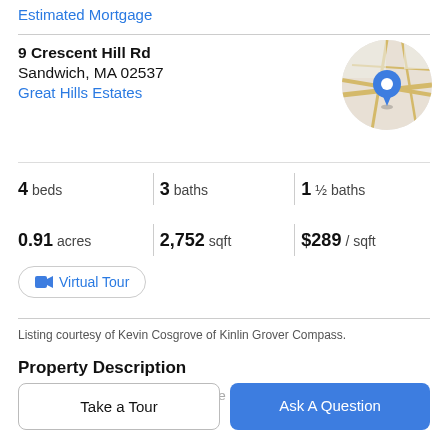Estimated Mortgage
9 Crescent Hill Rd
Sandwich, MA 02537
Great Hills Estates
[Figure (map): Circular map thumbnail showing location pin on street map for 9 Crescent Hill Rd, Sandwich MA]
4 beds   3 baths   1 ½ baths
0.91 acres   2,752 sqft   $289 / sqft
Virtual Tour
Listing courtesy of Kevin Cosgrove of Kinlin Grover Compass.
Property Description
Set on a peaceful cul-de-sac in the Great Hills Estates site
Take a Tour
Ask A Question